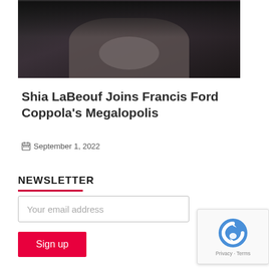[Figure (photo): A person in dark clothing with hands clasped together, photographed against a dark background — partial cropped view showing torso and hands.]
Shia LaBeouf Joins Francis Ford Coppola's Megalopolis
September 1, 2022
NEWSLETTER
Your email address
Sign up